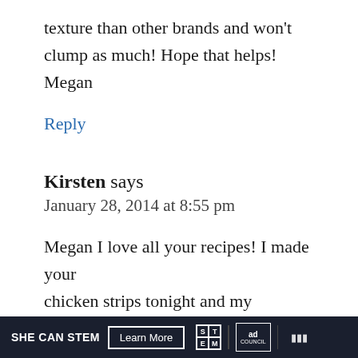texture than other brands and won't clump as much! Hope that helps! Megan
Reply
Kirsten says
January 28, 2014 at 8:55 pm
Megan I love all your recipes! I made your chicken strips tonight and my husband told m
SHE CAN STEM  Learn More